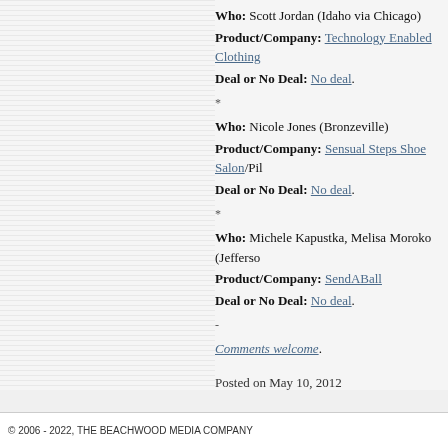Who: Scott Jordan (Idaho via Chicago) Product/Company: Technology Enabled Clothing Deal or No Deal: No deal.
*
Who: Nicole Jones (Bronzeville) Product/Company: Sensual Steps Shoe Salon/Pil Deal or No Deal: No deal.
*
Who: Michele Kapustka, Melisa Moroko (Jefferso Product/Company: SendABall Deal or No Deal: No deal.
-
Comments welcome.
Posted on May 10, 2012
© 2006 - 2022, THE BEACHWOOD MEDIA COMPANY